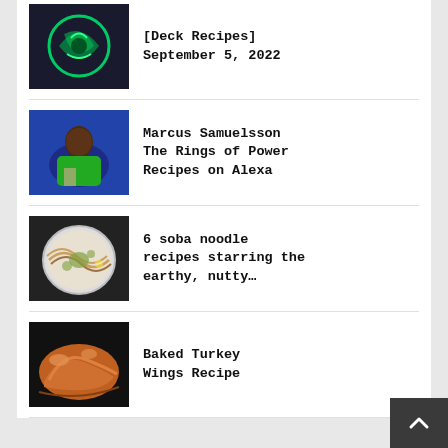[Deck Recipes] September 5, 2022
Marcus Samuelsson The Rings of Power Recipes on Alexa
6 soba noodle recipes starring the earthy, nutty…
Baked Turkey Wings Recipe
Low and slow roast pork recipe